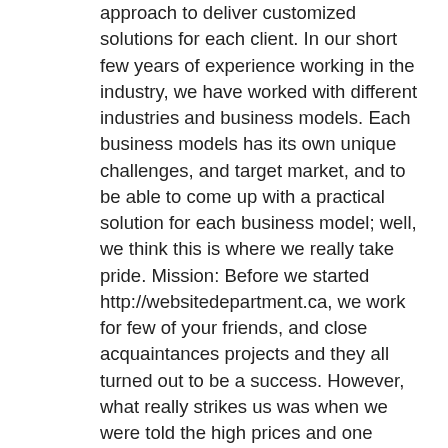approach to deliver customized solutions for each client. In our short few years of experience working in the industry, we have worked with different industries and business models. Each business models has its own unique challenges, and target market, and to be able to come up with a practical solution for each business model; well, we think this is where we really take pride. Mission: Before we started http://websitedepartment.ca, we work for few of your friends, and close acquaintances projects and they all turned out to be a success. However, what really strikes us was when we were told the high prices and one solution generalization for web design, development, and marketing needs that prevail in the industry. Thereby, we decided to start a company with a mission to offer SMEs a chance to avail affordable website development, designing, and digital marketing solutions, which are generalized to fit all but customized to meet their specific needs. So, far we have had worked with various business models, and every time we have been able to come up with a novel solution. Vision: Our vision is the sole empowerment of SMEs in Saskatoon, and other parts of the country to be able to compete and succeed in a hostile global competition. The